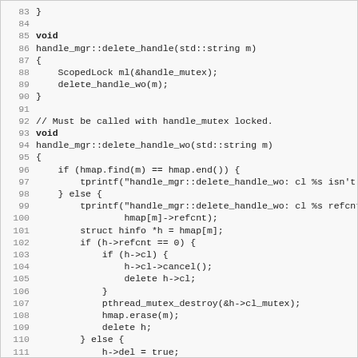[Figure (screenshot): C++ source code listing showing lines 83-114 of a file. The code defines void handle_mgr::delete_handle(std::string m) and void handle_mgr::delete_handle_wo(std::string m) functions with logic for deleting handles from an hmap, checking reference counts, canceling clients, destroying mutexes, and erasing entries.]